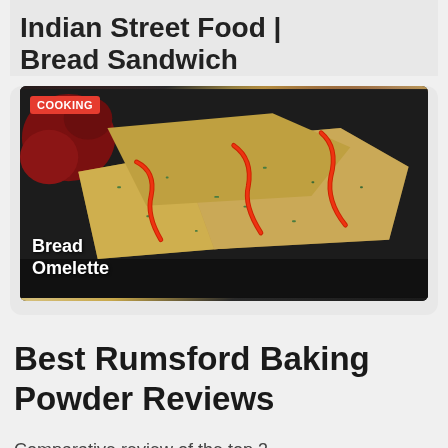Indian Street Food | Bread Sandwich
[Figure (photo): Photo of Bread Omelette — toasted bread sandwiches with egg omelette, garnished with herbs and drizzled with red ketchup/hot sauce, served on a dark plate. A red 'COOKING' badge appears in the top-left corner of the image. White text reads 'Bread Omelette' in the lower-left.]
Best Rumsford Baking Powder Reviews
Comparative review of the top 3